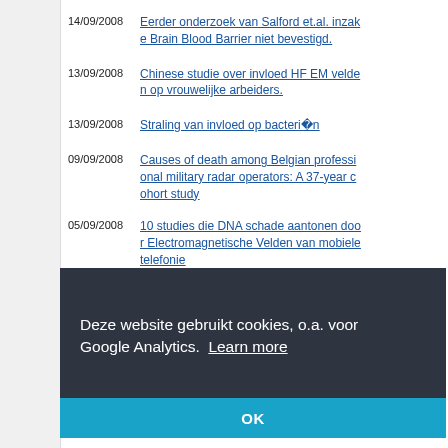14/09/2008 Eerder onderzoek van Salford et.al. inzake Brain Blood Barrier niet bevestigd.
13/09/2008 Chinese studie over invloed HF EM velden op vrouwelijke arbeiders.
13/09/2008 Straling van invloed op bacteriën
09/09/2008 Causes of death among Belgian professional military radar operators: A 37-year cohort study
05/09/2008 10 studies die DNA schade aantonen door Electromagnetische Velden van mobiele telefonie
Deze website gebruikt cookies, o.a. voor Google Analytics. Learn more
OK
20/08/2008 Reguliere blootstelling aan mobiele telefonie kan leiden tot neurologische schade b...